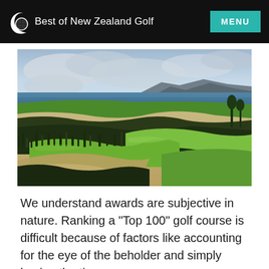Best of New Zealand Golf | MENU
[Figure (photo): Scenic coastal links golf course in New Zealand, showing rolling green fairways, natural dune grasses, sandy areas, ocean and mountains in the background under a dramatic cloudy sky.]
We understand awards are subjective in nature. Ranking a "Top 100" golf course is difficult because of factors like accounting for the eye of the beholder and simply having the time.